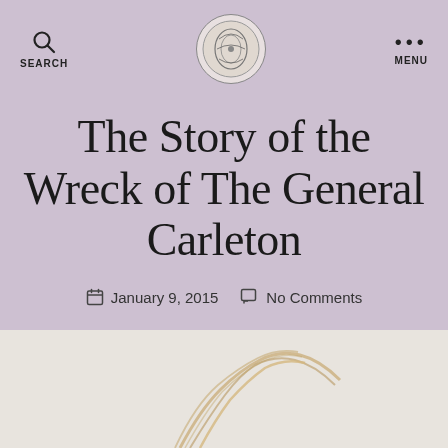SEARCH  [logo]  MENU
ANTIQUE TEXTILES  HAND SPINNING
The Story of the Wreck of The General Carleton
January 9, 2015   No Comments
[Figure (photo): Bottom portion showing what appears to be textile fibers or yarn, light tan/brown color against a light background]